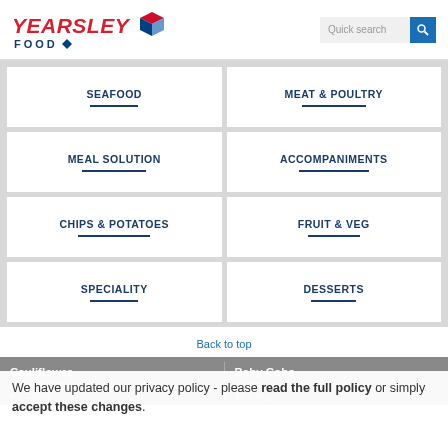[Figure (logo): Yearsley Food logo with red italic text and blue diamond/arrow graphic]
Quick search
SEAFOOD
MEAT & POULTRY
MEAL SOLUTION
ACCOMPANIMENTS
CHIPS & POTATOES
FRUIT & VEG
SPECIALITY
DESSERTS
Back to top
Cauliflower
Cream of the Crop
4 x 2.5Kg
Baby Cobs
Begro
10 x 1kg
We have updated our privacy policy - please read the full policy or simply accept these changes.